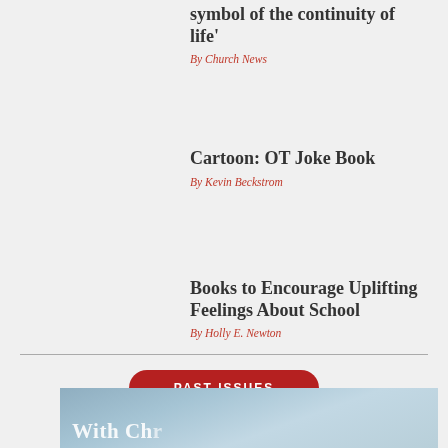symbol of the continuity of life'
By Church News
Cartoon: OT Joke Book
By Kevin Beckstrom
Books to Encourage Uplifting Feelings About School
By Holly E. Newton
PAST ISSUES
[Figure (photo): Blue-toned cloud or sky image with partial text beginning 'With Ch...' visible at bottom]